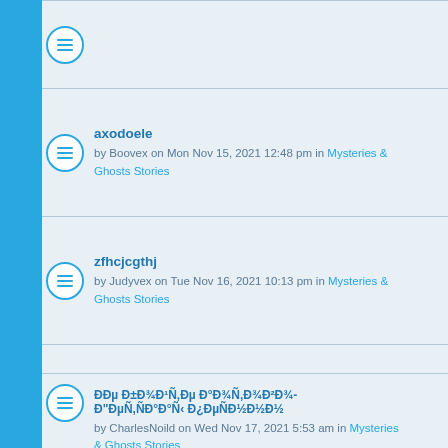axodoele
by Boovex on Mon Nov 15, 2021 12:48 pm in Mysteries & Ghosts Stories
zfhcjcgthj
by Judyvex on Tue Nov 16, 2021 10:13 pm in Mysteries & Ghosts Stories
vfxeixijr
by Maryvex on Mon Nov 15, 2021 1:51 pm in Mysteries & Ghosts Stories
ÐÐµ Ð±Ð¾Ð¹Ñ‚Ðµ Ð°Ð¾Ñ‚Ð¾Ð²Ð¾-Ð"ÐµÑ,ÑÐ°Ð°Ñ‹ Ð¿ÐµÑÐ½Ð½Ð½
by CharlesNoild on Wed Nov 17, 2021 5:53 am in Mysteries & Ghosts Stories